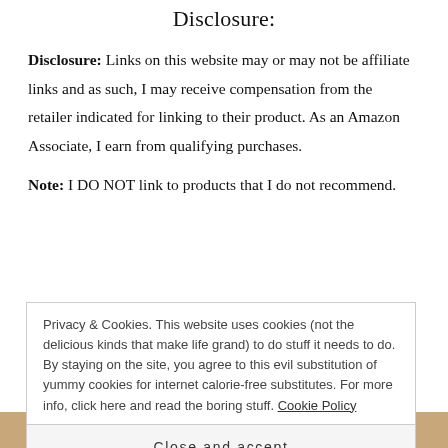Disclosure:
Disclosure: Links on this website may or may not be affiliate links and as such, I may receive compensation from the retailer indicated for linking to their product. As an Amazon Associate, I earn from qualifying purchases.
Note: I DO NOT link to products that I do not recommend.
Privacy & Cookies. This website uses cookies (not the delicious kinds that make life grand) to do stuff it needs to do. By staying on the site, you agree to this evil substitution of yummy cookies for internet calorie-free substitutes. For more info, click here and read the boring stuff. Cookie Policy
Close and accept
molecule of air, every nerve of their bodies